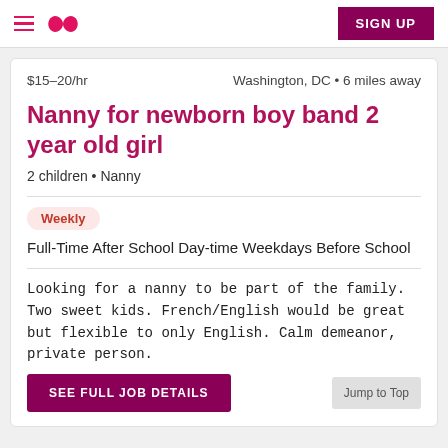Care.com navigation header with hamburger menu, logo, and SIGN UP button
$15–20/hr    Washington, DC • 6 miles away
Nanny for newborn boy band 2 year old girl
2 children • Nanny
Weekly
Full-Time After School Day-time Weekdays Before School
Looking for a nanny to be part of the family. Two sweet kids. French/English would be great but flexible to only English. Calm demeanor, private person.
SEE FULL JOB DETAILS
Jump to Top